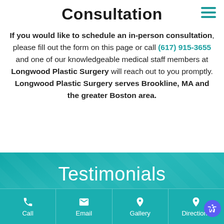Consultation
If you would like to schedule an in-person consultation, please fill out the form on this page or call (617) 915-3655 and one of our knowledgeable medical staff members at Longwood Plastic Surgery will reach out to you promptly. Longwood Plastic Surgery serves Brookline, MA and the greater Boston area.
[Figure (screenshot): Testimonials section with teal background and 5 gold star ratings]
[Figure (infographic): Bottom navigation bar with Call, Email, Gallery, Directions icons on teal background]